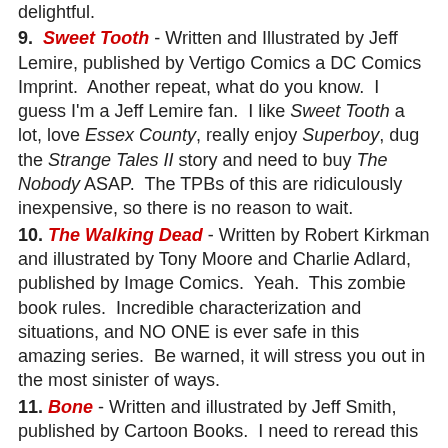delightful.
9. Sweet Tooth - Written and Illustrated by Jeff Lemire, published by Vertigo Comics a DC Comics Imprint. Another repeat, what do you know. I guess I'm a Jeff Lemire fan. I like Sweet Tooth a lot, love Essex County, really enjoy Superboy, dug the Strange Tales II story and need to buy The Nobody ASAP. The TPBs of this are ridiculously inexpensive, so there is no reason to wait.
10. The Walking Dead - Written by Robert Kirkman and illustrated by Tony Moore and Charlie Adlard, published by Image Comics. Yeah. This zombie book rules. Incredible characterization and situations, and NO ONE is ever safe in this amazing series. Be warned, it will stress you out in the most sinister of ways.
11. Bone - Written and illustrated by Jeff Smith, published by Cartoon Books. I need to reread this tome. There is a reason why this book is such a hit in school libraries and with comics lovers alike, but to put it plainly, this all-ages tale is accessible. Smith has created a rich and wonderful world of cartoony characters and horrific monsters that is so mesmerizing and important for the comic medium as a whole that words cannot do the book justice. "The Great Cow